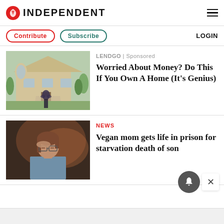INDEPENDENT
Contribute | Subscribe | LOGIN
[Figure (photo): Woman standing in front of a large house with a driveway and garden]
LENDGO | Sponsored
Worried About Money? Do This If You Own A Home (It's Genius)
[Figure (photo): Woman with glasses holding her head, appearing stressed, sitting in a dark room]
NEWS
Vegan mom gets life in prison for starvation death of son